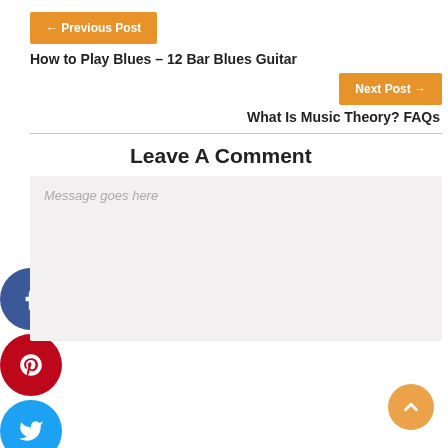← Previous Post
How to Play Blues – 12 Bar Blues Guitar
Next Post →
What Is Music Theory? FAQs
Leave A Comment
Message goes here